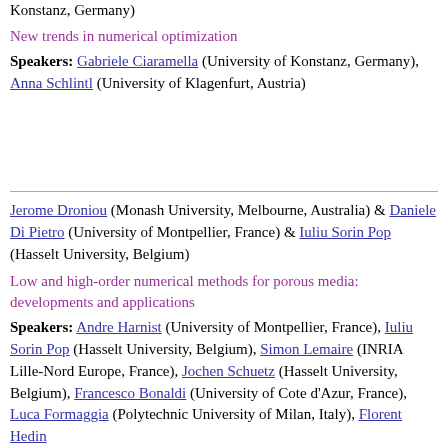Konstanz, Germany)
New trends in numerical optimization
Speakers: Gabriele Ciaramella (University of Konstanz, Germany), Anna Schlintl (University of Klagenfurt, Austria)
Jerome Droniou (Monash University, Melbourne, Australia) & Daniele Di Pietro (University of Montpellier, France) & Iuliu Sorin Pop (Hasselt University, Belgium)
Low and high-order numerical methods for porous media: developments and applications
Speakers: Andre Harnist (University of Montpellier, France), Iuliu Sorin Pop (Hasselt University, Belgium), Simon Lemaire (INRIA Lille-Nord Europe, France), Jochen Schuetz (Hasselt University, Belgium), Francesco Bonaldi (University of Cote d'Azur, France), Luca Formaggia (Polytechnic University of Milan, Italy), Florent Hedin